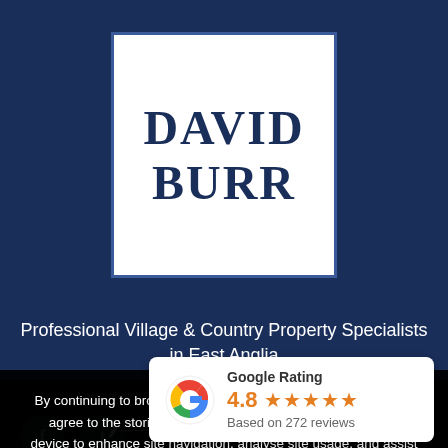[Figure (logo): David Burr estate agency logo: white box with dark navy border containing bold serif text 'DAVID' and 'BURR' stacked, on dark navy background]
Professional Village & Country Property Specialists in East Anglia
By continuing to browse or by clicking “Accept All Cookies,” you agree to the storing of first- and third-party cookies on your device to enhance site navigation, analyse site usage, and assist in our marketing efforts.
Leavenheath · Linton & Villages · London · Long Melford
Ne... it
Priv...
[Figure (other): Google Rating widget showing stylized Google 'G' logo, rating label 'Google Rating', score '4.8' in orange with 5 orange stars, and 'Based on 272 reviews' text]